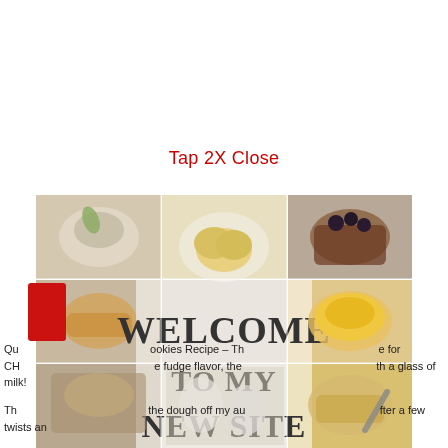Tap 2X Close
[Figure (photo): Collage of food photos with 'WELCOME TO MY NEW SITE' text overlay on a semi-transparent white background]
Qu... ookies Recipe – Th... e for CH... e fudge flavor, the... th a glass of milk!
Th... the dough off my au... fter a few twists an...